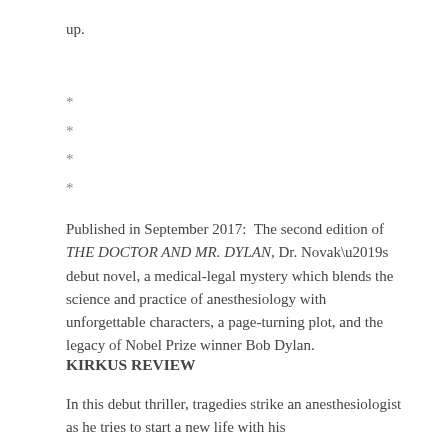up.
*
*
*
*
Published in September 2017:  The second edition of THE DOCTOR AND MR. DYLAN, Dr. Novak’s debut novel, a medical-legal mystery which blends the science and practice of anesthesiology with unforgettable characters, a page-turning plot, and the legacy of Nobel Prize winner Bob Dylan.
KIRKUS REVIEW
In this debut thriller, tragedies strike an anesthesiologist as he tries to start a new life with his